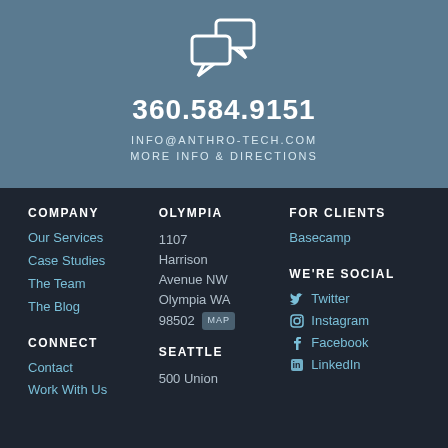[Figure (illustration): Speech bubble / chat icon in white outline on blue-grey background]
360.584.9151
INFO@ANTHRO-TECH.COM
MORE INFO & DIRECTIONS
COMPANY
Our Services
Case Studies
The Team
The Blog
CONNECT
Contact
Work With Us
OLYMPIA
1107 Harrison Avenue NW Olympia WA 98502
SEATTLE
500 Union
FOR CLIENTS
Basecamp
WE'RE SOCIAL
Twitter
Instagram
Facebook
LinkedIn